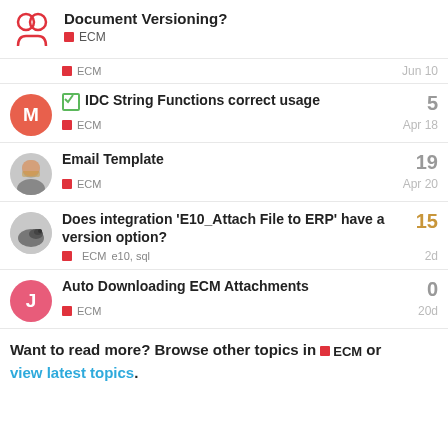Document Versioning? — ECM
ECM — Jun 10
IDC String Functions correct usage — ECM — Apr 18 — replies: 5
Email Template — ECM — Apr 20 — replies: 19
Does integration 'E10_Attach File to ERP' have a version option? — ECM, e10, sql — 2d — replies: 15
Auto Downloading ECM Attachments — ECM — 20d — replies: 0
Want to read more? Browse other topics in ECM or view latest topics.